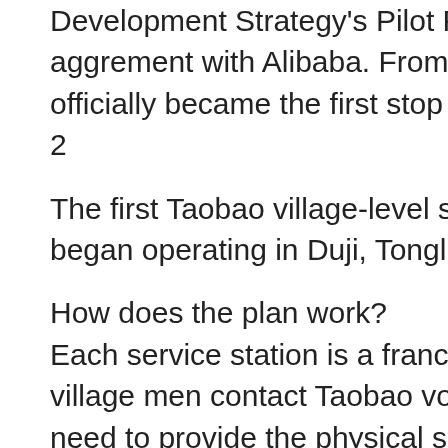Development Strategy's Pilot Project in Tonglu" aggrement with Alibaba. From this, Tonglu officially became the first stop of Alibaba's plan. 2
The first Taobao village-level service station began operating in Duji, Tonglu on Oct 29th.
How does the plan work? Each service station is a franchise. The local village men contact Taobao voluntarily. They need to provide the physical space at which the service station will operate. After the contract is signed, Taobao promises to fund the station owner and pay for all the initial cost of transformation.
What services do the stations offer? Online Purchasing on the village people's behalf.